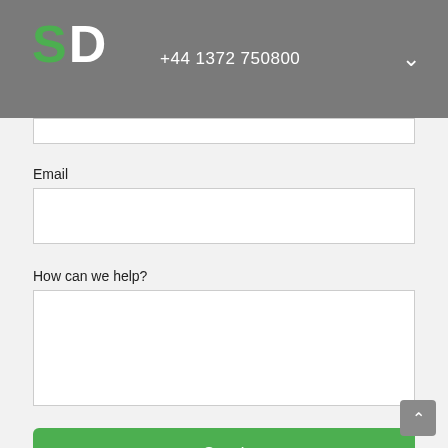SD +44 1372 750800
Email
How can we help?
Send